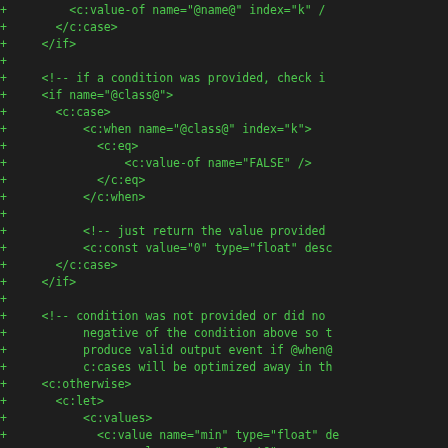[Figure (screenshot): A code diff view showing XML/template code additions (green + lines) on a dark background. The code shows XML-like template tags including c:value-of, c:case, c:if, c:when, c:eq, c:const, c:otherwise, c:let, c:values, c:value, and unless elements with various attributes.]